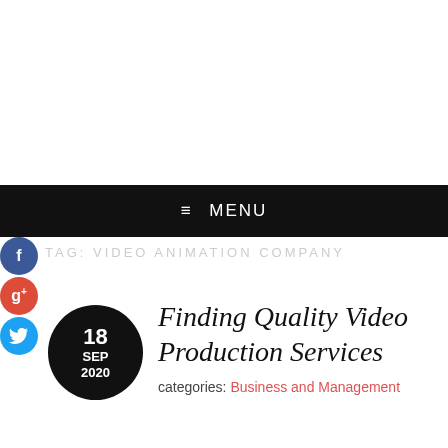≡ MENU
TAG: VIDEO ANIMATION COMPANY
Finding Quality Video Production Services
categories: Business and Management